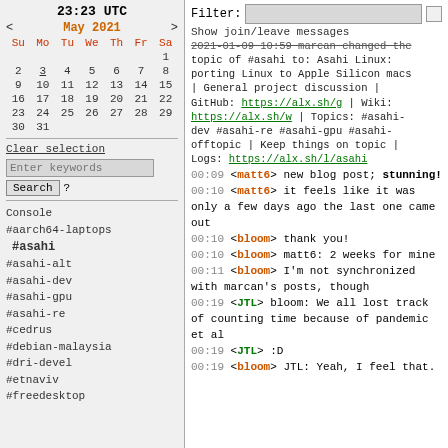23:23 UTC
< May 2021 >
| Su | Mo | Tu | We | Th | Fr | Sa |
| --- | --- | --- | --- | --- | --- | --- |
|  |  |  |  |  |  | 1 |
| 2 | 3 | 4 | 5 | 6 | 7 | 8 |
| 9 | 10 | 11 | 12 | 13 | 14 | 15 |
| 16 | 17 | 18 | 19 | 20 | 21 | 22 |
| 23 | 24 | 25 | 26 | 27 | 28 | 29 |
| 30 | 31 |  |  |  |  |  |
Clear selection
Enter keywords
Search ?
Console
#aarch64-laptops
#asahi
#asahi-alt
#asahi-dev
#asahi-gpu
#asahi-re
#cedrus
#debian-malaysia
#dri-devel
#etnaviv
#freedesktop
Filter:
Show join/leave messages
2021-01-09 10:59 marcan changed the topic of #asahi to: Asahi Linux: porting Linux to Apple Silicon macs | General project discussion | GitHub: https://alx.sh/g | Wiki: https://alx.sh/w | Topics: #asahi-dev #asahi-re #asahi-gpu #asahi-offtopic | Keep things on topic | Logs: https://alx.sh/l/asahi
00:09 <matt6> new blog post; stunning!
00:10 <matt6> it feels like it was only a few days ago the last one came out
00:10 <bloom> thank you!
00:10 <bloom> matt6: 2 weeks for mine
00:11 <bloom> I'm not synchronized with marcan's posts, though
00:19 <JTL> bloom: We all lost track of counting time because of pandemic et al
00:19 <JTL> :D
00:19 <bloom> JTL: Yeah, I feel that.